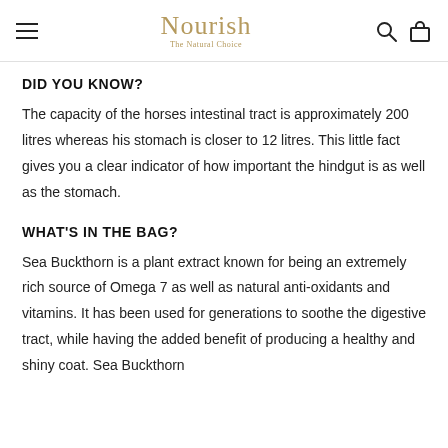Nourish – The Natural Choice
DID YOU KNOW?
The capacity of the horses intestinal tract is approximately 200 litres whereas his stomach is closer to 12 litres. This little fact gives you a clear indicator of how important the hindgut is as well as the stomach.
WHAT'S IN THE BAG?
Sea Buckthorn is a plant extract known for being an extremely rich source of Omega 7 as well as natural anti-oxidants and vitamins. It has been used for generations to soothe the digestive tract, while having the added benefit of producing a healthy and shiny coat. Sea Buckthorn